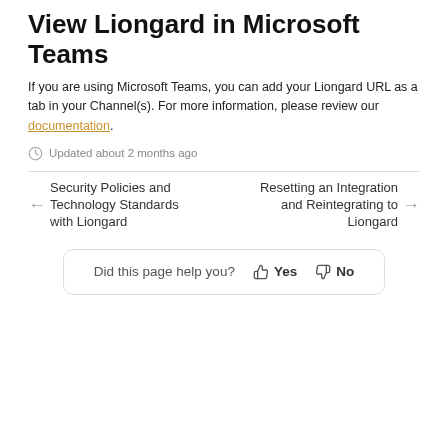View Liongard in Microsoft Teams
If you are using Microsoft Teams, you can add your Liongard URL as a tab in your Channel(s). For more information, please review our documentation.
Updated about 2 months ago
Security Policies and Technology Standards with Liongard
Resetting an Integration and Reintegrating to Liongard
Did this page help you? Yes No